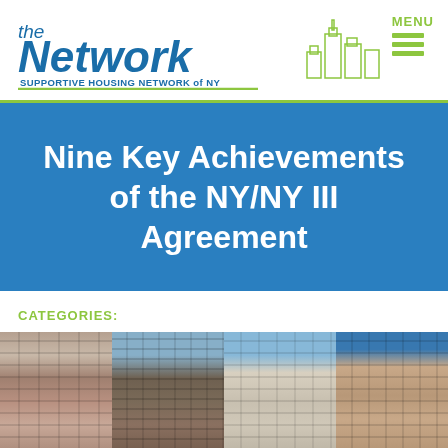[Figure (logo): The Network - Supportive Housing Network of NY logo with NYC skyline illustration and green underline]
Nine Key Achievements of the NY/NY III Agreement
CATEGORIES:
[Figure (photo): Strip of four photos showing apartment/supportive housing buildings in New York City]